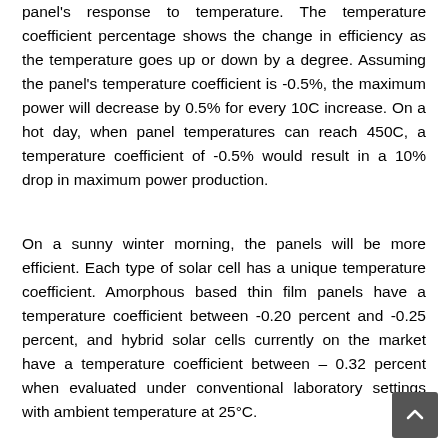panel's response to temperature. The temperature coefficient percentage shows the change in efficiency as the temperature goes up or down by a degree. Assuming the panel's temperature coefficient is -0.5%, the maximum power will decrease by 0.5% for every 10C increase. On a hot day, when panel temperatures can reach 450C, a temperature coefficient of -0.5% would result in a 10% drop in maximum power production.
On a sunny winter morning, the panels will be more efficient. Each type of solar cell has a unique temperature coefficient. Amorphous based thin film panels have a temperature coefficient between -0.20 percent and -0.25 percent, and hybrid solar cells currently on the market have a temperature coefficient between – 0.32 percent when evaluated under conventional laboratory settings with ambient temperature at 25°C.